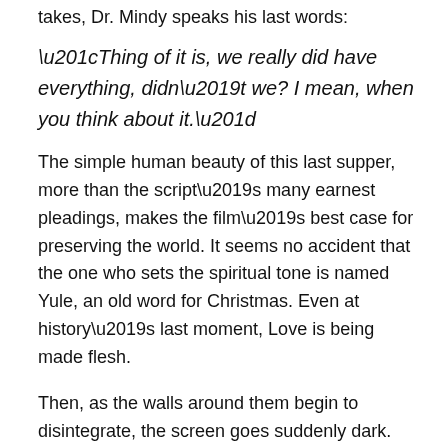takes, Dr. Mindy speaks his last words:
“Thing of it is, we really did have everything, didn’t we? I mean, when you think about it.”
The simple human beauty of this last supper, more than the script’s many earnest pleadings, makes the film’s best case for preserving the world. It seems no accident that the one who sets the spiritual tone is named Yule, an old word for Christmas. Even at history’s last moment, Love is being made flesh.
Then, as the walls around them begin to disintegrate, the screen goes suddenly dark. The circle of human love has vanished into the Divine Mystery.
After watching Don’t Look Up, I came across a poem by John Hollander which articulates for me the feeling of this